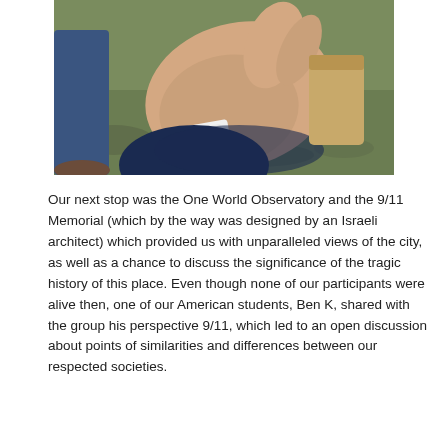[Figure (photo): Close-up photo of a person's hand and wrist outdoors on grass, wearing a wristband that reads 'ULLS'. Another person's feet and legs are visible in the background.]
Our next stop was the One World Observatory and the 9/11 Memorial (which by the way was designed by an Israeli architect) which provided us with unparalleled views of the city, as well as a chance to discuss the significance of the tragic history of this place. Even though none of our participants were alive then, one of our American students, Ben K, shared with the group his perspective 9/11, which led to an open discussion about points of similarities and differences between our respected societies.